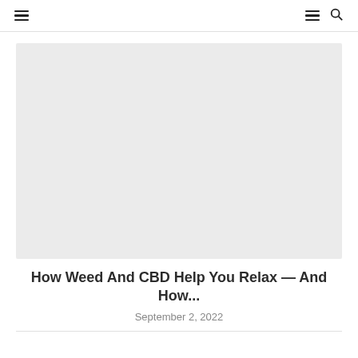☰  ☰ 🔍
[Figure (photo): Large light gray rectangular placeholder image for article hero image]
How Weed And CBD Help You Relax — And How...
September 2, 2022